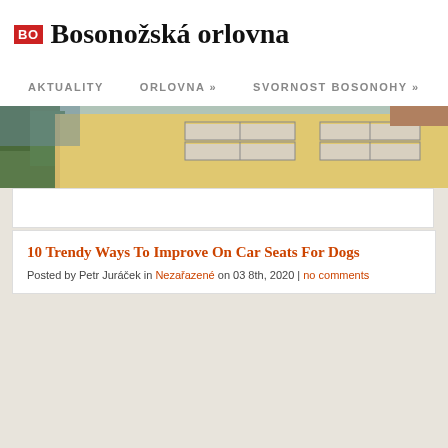BO Bosonožská orlovna
AKTUALITY   ORLOVNA »   SVORNOST BOSONOHY »
[Figure (photo): Exterior photo of a yellow building with white windows and trees visible on the left side]
10 Trendy Ways To Improve On Car Seats For Dogs
Posted by Petr Juráček in Nezařazené on 03 8th, 2020 | no comments